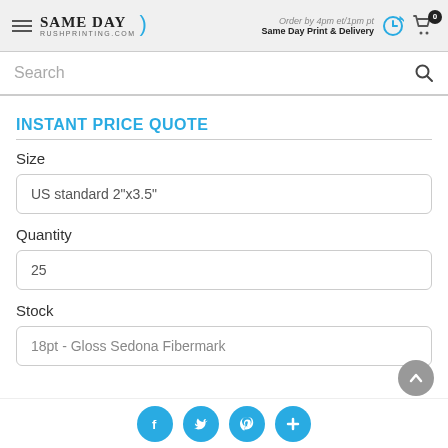Same Day RushPrinting.com — Order by 4pm et/1pm pt Same Day Print & Delivery
Search
INSTANT PRICE QUOTE
Size
US standard 2"x3.5"
Quantity
25
Stock
18pt - Gloss Sedona Fibermark